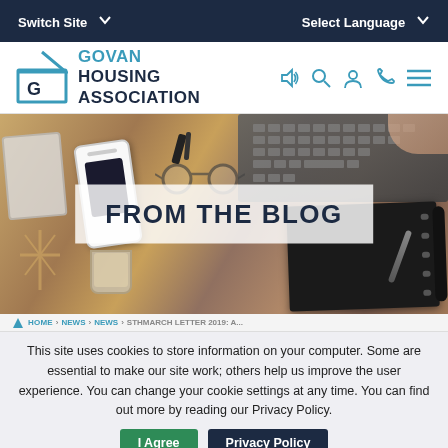Switch Site   Select Language
[Figure (logo): Govan Housing Association logo with house icon and teal/navy text]
[Figure (photo): Overhead desk scene with laptop keyboard, phone, glasses, notebook, and coffee cup on wooden surface]
FROM THE BLOG
HOME > NEWS > NEWS > STHMARCH LETTER 2019: A...
This site uses cookies to store information on your computer. Some are essential to make our site work; others help us improve the user experience. You can change your cookie settings at any time. You can find out more by reading our Privacy Policy.
I Agree   Privacy Policy